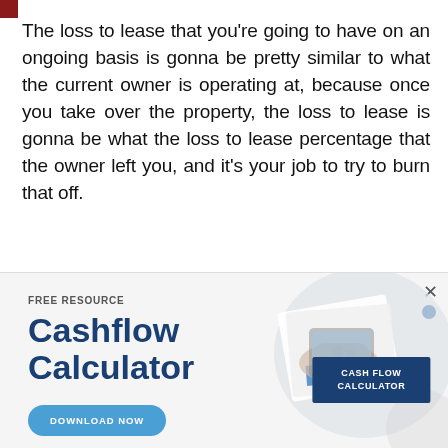The loss to lease that you're going to have on an ongoing basis is gonna be pretty similar to what the current owner is operating at, because once you take over the property, the loss to lease is gonna be what the loss to lease percentage that the owner left you, and it's your job to try to burn that off.
[Figure (infographic): Advertisement banner for a free Cashflow Calculator resource with a download button and illustration of hands using a tablet with financial charts, and a dark blue label reading CASH FLOW CALCULATOR]